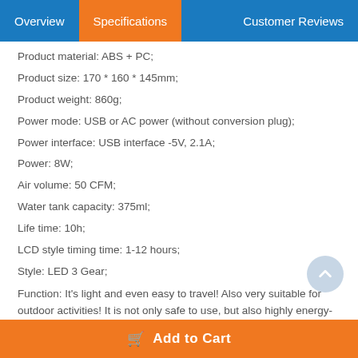Overview | Specifications | Customer Reviews
Product material: ABS + PC;
Product size: 170 * 160 * 145mm;
Product weight: 860g;
Power mode: USB or AC power (without conversion plug);
Power interface: USB interface -5V, 2.1A;
Power: 8W;
Air volume: 50 CFM;
Water tank capacity: 375ml;
Life time: 10h;
LCD style timing time: 1-12 hours;
Style: LED 3 Gear;
Function: It's light and even easy to travel! Also very suitable for outdoor activities! It is not only safe to use, but also highly energy-efficient. This kind of personal space air cooler actually uses the size and power consumption of a small fan to cool the air you need most;
Packing list:
Add to Cart